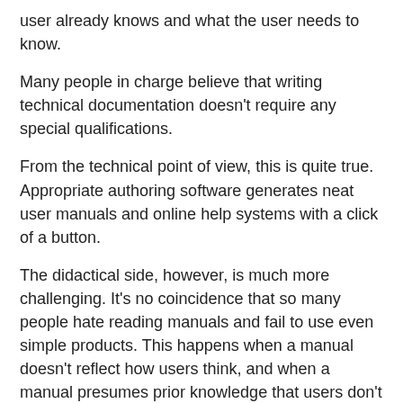user already knows and what the user needs to know.
Many people in charge believe that writing technical documentation doesn't require any special qualifications.
From the technical point of view, this is quite true. Appropriate authoring software generates neat user manuals and online help systems with a click of a button.
The didactical side, however, is much more challenging. It's no coincidence that so many people hate reading manuals and fail to use even simple products. This happens when a manual doesn't reflect how users think, and when a manual presumes prior knowledge that users don't have.
The skill of writing clear user assistance essentially is the ability to bridge the gap between the users' prior knowledge and the knowledge needed to use the product. User assistance shouldn't